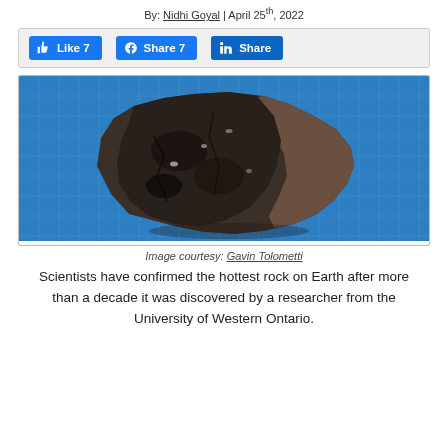By: Nidhi Goyal | April 25th, 2022
[Figure (screenshot): Three social media buttons: Like 7 (Facebook), Share 7 (Facebook), Share (LinkedIn)]
[Figure (photo): A dark rock specimen photographed on a blue grid background]
Image courtesy: Gavin Tolometti
Scientists have confirmed the hottest rock on Earth after more than a decade it was discovered by a researcher from the University of Western Ontario.